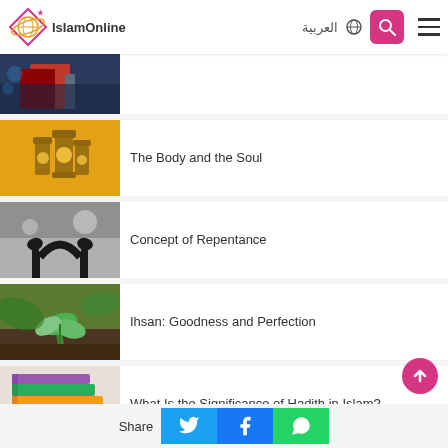IslamOnline | العربية
[Figure (photo): Books/Quran with fabric - cropped top thumbnail]
The Body and the Soul
[Figure (photo): Golden Ramadan lanterns thumbnail]
Concept of Repentance
[Figure (photo): Silhouetted hands in prayer (black and white) thumbnail]
Ihsan: Goodness and Perfection
[Figure (photo): Green plant seedling in soil thumbnail]
What Is the Significance of Hadith in Islam?
[Figure (photo): Stack of colorful books thumbnail]